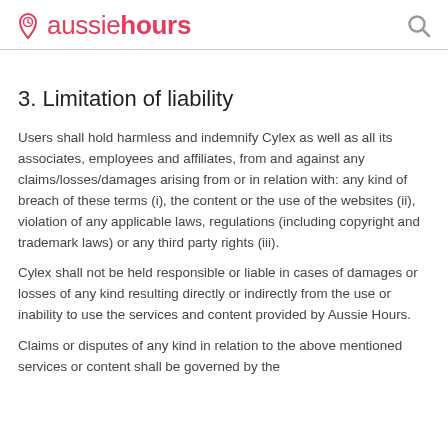aussiehours
3. Limitation of liability
Users shall hold harmless and indemnify Cylex as well as all its associates, employees and affiliates, from and against any claims/losses/damages arising from or in relation with: any kind of breach of these terms (i), the content or the use of the websites (ii), violation of any applicable laws, regulations (including copyright and trademark laws) or any third party rights (iii).
Cylex shall not be held responsible or liable in cases of damages or losses of any kind resulting directly or indirectly from the use or inability to use the services and content provided by Aussie Hours.
Claims or disputes of any kind in relation to the above mentioned services or content shall be governed by the